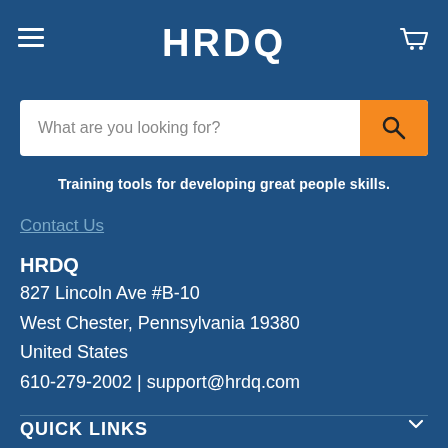HRDQ
What are you looking for?
Training tools for developing great people skills.
Contact Us
HRDQ
827 Lincoln Ave #B-10
West Chester, Pennsylvania 19380
United States
610-279-2002 | support@hrdq.com
Follow Us:
[Figure (illustration): Social media icons: Facebook, Twitter, LinkedIn]
QUICK LINKS